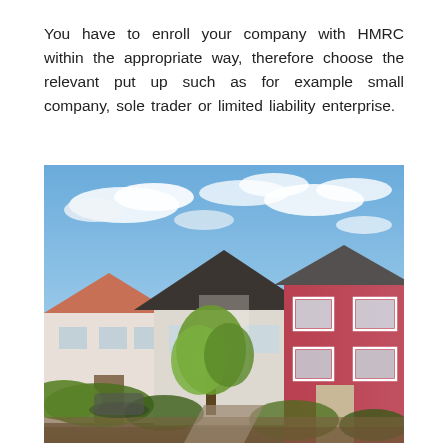You have to enroll your company with HMRC within the appropriate way, therefore choose the relevant put up such as for example small company, sole trader or limited liability enterprise.
[Figure (photo): Photograph of a residential street scene showing several houses including a red/pink two-story house on the right, a white house on the left, and a house with a dark triangular roof in the center background. Green trees and shrubs are in the foreground, with a bright sun flare visible. A white picket fence is on the lower left. Blue sky with white clouds fills the upper portion of the image.]